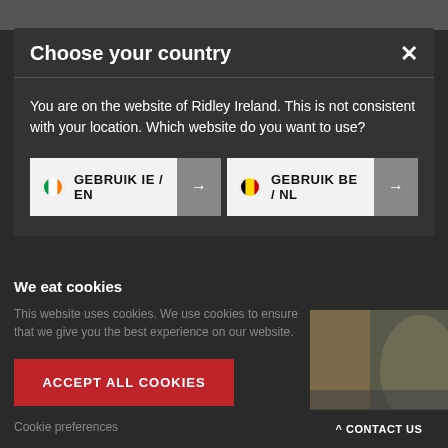Choose your country
You are on the website of Ridley Ireland. This is not consistent with your location. Which website do you want to use?
GEBRUIK IE / EN →
GEBRUIK BE / NL →
We eat cookies
This website uses cookies. We use cookies to ensure that we give you the best experience on our website.
ACCEPT ALL COOKIES
Cookie preferences
^ CONTACT US